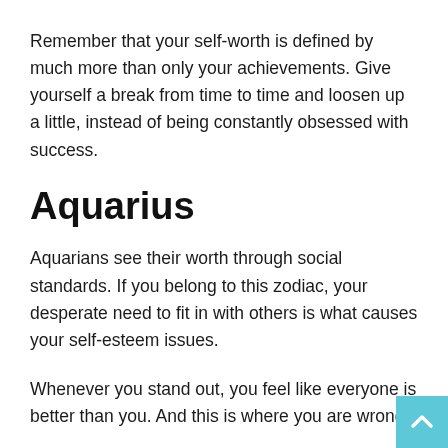Remember that your self-worth is defined by much more than only your achievements. Give yourself a break from time to time and loosen up a little, instead of being constantly obsessed with success.
Aquarius
Aquarians see their worth through social standards. If you belong to this zodiac, your desperate need to fit in with others is what causes your self-esteem issues.
Whenever you stand out, you feel like everyone is better than you. And this is where you are wrong.
Instead of trying to blend in, cherish and love your uniqueness. You are special and that is something you should never